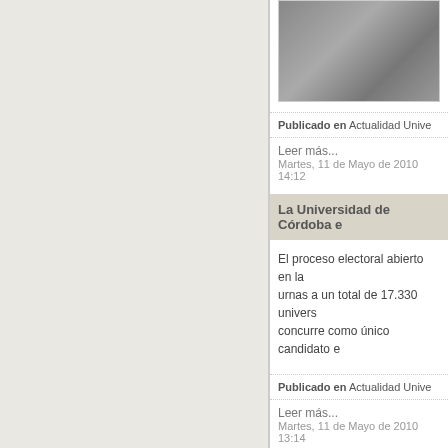[Figure (photo): Photo of a person in white clothing, partially visible at top of page]
Publicado en  Actualidad Unive...
Leer más...
Martes, 11 de Mayo de 2010 14:12
La Universidad de Córdoba e...
El proceso electoral abierto en la urnas a un total de 17.330 univers... concurre como único candidato e...
Publicado en  Actualidad Unive...
Leer más...
Martes, 11 de Mayo de 2010 13:14
Librado Carrasco, reelegido ...
Librado Carrasco, catedrático de Veterinaria de la Universidad de C... Universitario de Rabanales y a las...